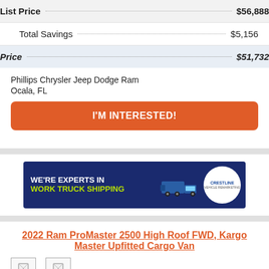| Label | Value |
| --- | --- |
| List Price | $56,888 |
| Total Savings | $5,156 |
| Price | $51,732 |
Phillips Chrysler Jeep Dodge Ram
Ocala, FL
I'M INTERESTED!
[Figure (infographic): Crestline advertisement banner: WE'RE EXPERTS IN WORK TRUCK SHIPPING with truck graphic and Crestline logo]
2022 Ram ProMaster 2500 High Roof FWD, Kargo Master Upfitted Cargo Van
[Figure (photo): Two small broken/placeholder vehicle image thumbnails]
| Field | Value | Field | Value |
| --- | --- | --- | --- |
| VIN | 3C6LRVDGX... | Color | Bright White... |